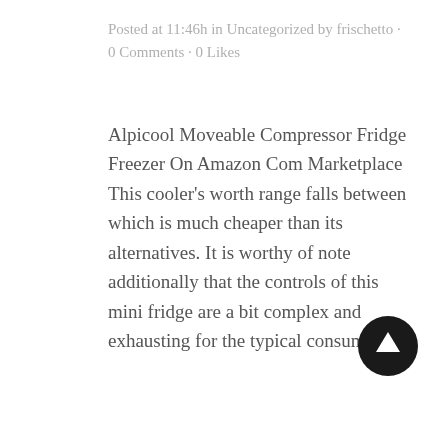Posted at 11:46h in Uncategorized by frischetto · 0 Comments · 0 Likes
Alpicool Moveable Compressor Fridge Freezer On Amazon Com Marketplace This cooler's worth range falls between which is much cheaper than its alternatives. It is worthy of note additionally that the controls of this mini fridge are a bit complex and exhausting for the typical consumer to...
[Figure (other): Black circular button with white upward-pointing arrow icon (scroll-to-top button)]